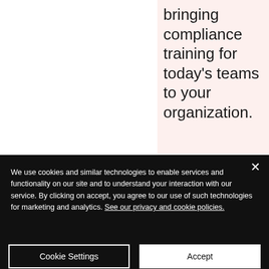bringing compliance training for today's teams to your organization.
CA law protections are broader than federal.
CA also protects independent
We use cookies and similar technologies to enable services and functionality on our site and to understand your interaction with our service. By clicking on accept, you agree to our use of such technologies for marketing and analytics. See our privacy and cookie policies.
Cookie Settings
Accept